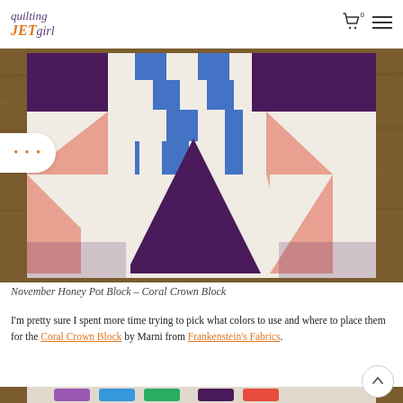quilting JETgirl
[Figure (photo): Quilt block layout showing November Honey Pot Block – Coral Crown Block on a wooden table. The block features geometric shapes in purple, blue, white, and pink/salmon colors arranged in a crown-like pattern with triangles and squares.]
November Honey Pot Block – Coral Crown Block
I'm pretty sure I spent more time trying to pick what colors to use and where to place them for the Coral Crown Block by Marni from Frankenstein's Fabrics.
[Figure (photo): Partial view of colorful quilt blocks on a wooden surface, showing the bottom portion of the page.]